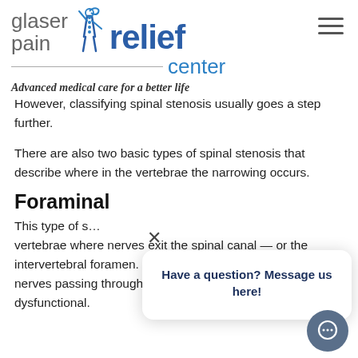[Figure (logo): Glaser Pain Relief Center logo with figure raising arms and spinal imagery. Text: 'glaser pain relief center'. Tagline: 'Advanced medical care for a better life']
However, classifying spinal stenosis usually goes a step further.
There are also two basic types of spinal stenosis that describe where in the vertebrae the narrowing occurs.
Foraminal...
This type of s... vertebrae where nerves exit the spinal canal — or the intervertebral foramen. When these channels narrow, nerves passing through can become painful, pinched, dysfunctional.
[Figure (screenshot): Chat popup overlay: X close button, message 'Have a question? Message us here!' with a chat bubble icon button in dark blue-grey.]